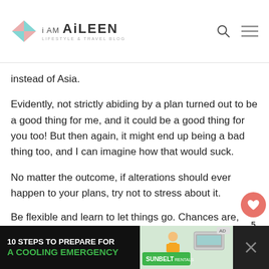i AM AiLEEN — LIFESTYLE & TRAVEL BLOG
instead of Asia.
Evidently, not strictly abiding by a plan turned out to be a good thing for me, and it could be a good thing for you too! But then again, it might end up being a bad thing too, and I can imagine how that would suck.
No matter the outcome, if alterations should ever happen to your plans, try not to stress about it.
Be flexible and learn to let things go. Chances are, you might just end up doing
[Figure (infographic): Advertisement banner: '10 STEPS TO PREPARE FOR A COOLING EMERGENCY' with Sunbelt Rentals branding on dark background]